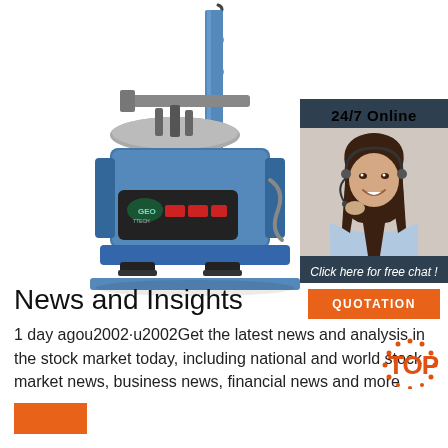[Figure (photo): Blue industrial tire changer machine with GEO branding, tall vertical column with coiled air hose, rotating turntable platform, and foot pedals at base. White background.]
[Figure (infographic): 24/7 Online chat widget: dark blue/slate background with '24/7 Online' header, photo of smiling woman with headset, text 'Click here for free chat!' and orange QUOTATION button]
News and Insights
1 day agou2002·u2002Get the latest news and analysis in the stock market today, including national and world stock market news, business news, financial news and more
[Figure (logo): TOP logo with dotted orange/red circular design around letters TOP]